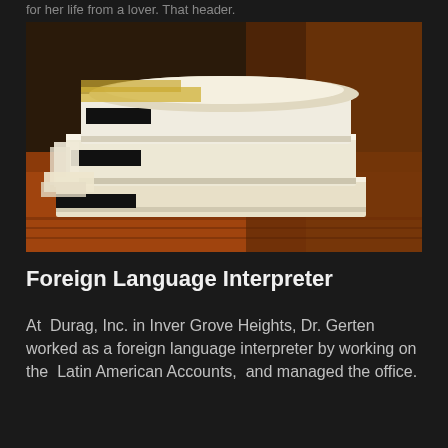for her life from a lover. That header.
[Figure (photo): A stack of white paper binders/folders with black binding strips, photographed on a warm orange-brown wooden surface with dark blurred background.]
Foreign Language Interpreter
At  Durag, Inc. in Inver Grove Heights, Dr. Gerten worked as a foreign language interpreter by working on the  Latin American Accounts,  and managed the office.